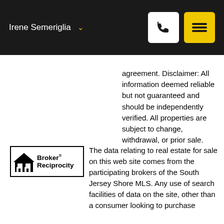Irene Semeriglia
agreement. Disclaimer: All information deemed reliable but not guaranteed and should be independently verified. All properties are subject to change, withdrawal, or prior sale.
[Figure (logo): Broker Reciprocity logo with house icon]
The data relating to real estate for sale on this web site comes from the participating brokers of the South Jersey Shore MLS. Any use of search facilities of data on the site, other than a consumer looking to purchase